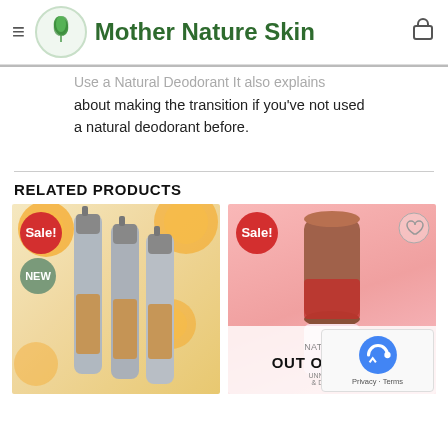Mother Nature Skin
Use a Natural Deodorant It also explains about making the transition if you've not used a natural deodorant before.
RELATED PRODUCTS
[Figure (photo): Two product cards side by side: left card shows silver pump bottles with oranges, Sale! and NEW badges; right card shows a pink cylindrical deodorant product on pink background with Sale! badge, heart icon, and OUT OF STOCK overlay with reCAPTCHA.]